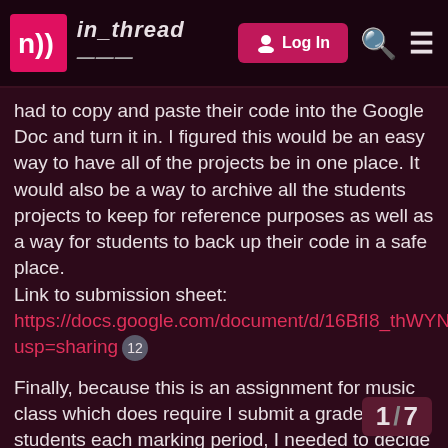in_thread | Log In
had to copy and paste their code into the Google Doc and turn it in. I figured this would be an easy way to have all of the projects be in one place. It would also be a way to archive all the students projects to keep for reference purposes as well as a way for students to back up their code in a safe place.
Link to submission sheet:
https://docs.google.com/document/d/16BfI8_thWYN9HklZcXDohMXskdSbFOuDVqTZx2Whqyc/edit?usp=sharing  12
Finally, because this is an assignment for music class which does require I submit a grade for students each marking period, I needed to decide what I was going to be assessing and what criteria I would base the grade on. This has been something I'd been thinking about since I made the decision to teach Sonic Pi in this capacity. While I love the freedom and creative opportunities that Sonic Pi offers to students, it also led me to a bit of a conundrum: How do you grade when there are no mistakes, only opportunities?!
1 / 7